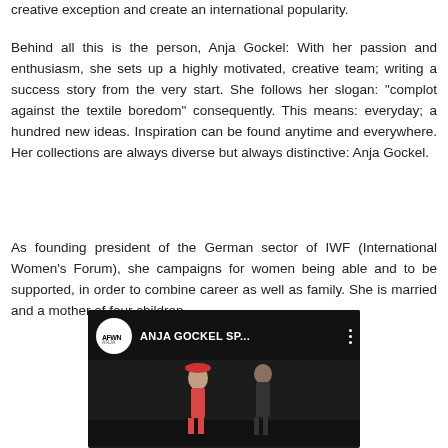creative exception and create an international popularity.
Behind all this is the person, Anja Gockel: With her passion and enthusiasm, she sets up a highly motivated, creative team; writing a success story from the very start. She follows her slogan: "complot against the textile boredom" consequently. This means: everyday; a hundred new ideas. Inspiration can be found anytime and everywhere. Her collections are always diverse but always distinctive: Anja Gockel.
As founding president of the German sector of IWF (International Women's Forum), she campaigns for women being able and to be supported, in order to combine career as well as family. She is married and a mother of four children.
[Figure (screenshot): YouTube video thumbnail showing 'ANJA GOCKEL SP...' with a fashion show image and a white circular logo with 'AFWN' text on dark background.]